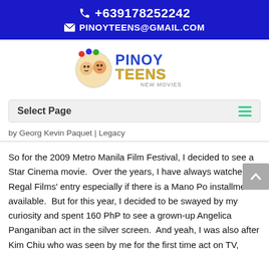📞 +639178252242 ✉ PINOYTEENS@GMAIL.COM
[Figure (logo): Pinoy Teens New Movies logo with cartoon characters]
Select Page
by Georg Kevin Paquet | Legacy
So for the 2009 Metro Manila Film Festival, I decided to see a Star Cinema movie.  Over the years, I have always watched Regal Films' entry especially if there is a Mano Po installment available.  But for this year, I decided to be swayed by my curiosity and spent 160 PhP to see a grown-up Angelica Panganiban act in the silver screen.  And yeah, I was also after Kim Chiu who was seen by me for the first time act on TV,